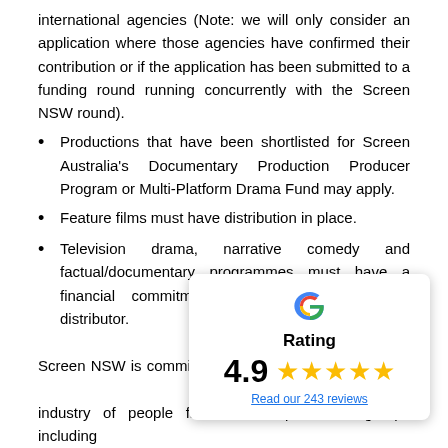international agencies (Note: we will only consider an application where those agencies have confirmed their contribution or if the application has been submitted to a funding round running concurrently with the Screen NSW round).
Productions that have been shortlisted for Screen Australia's Documentary Production Producer Program or Multi-Platform Drama Fund may apply.
Feature films must have distribution in place.
Television drama, narrative comedy and factual/documentary programmes must have a financial commitment from a broadcaster or distributor.
Screen NSW is committed to supporting the industry of people from under-represented groups including
[Figure (infographic): Google rating popup showing 4.9 stars with 5 gold stars and a link to 243 reviews]